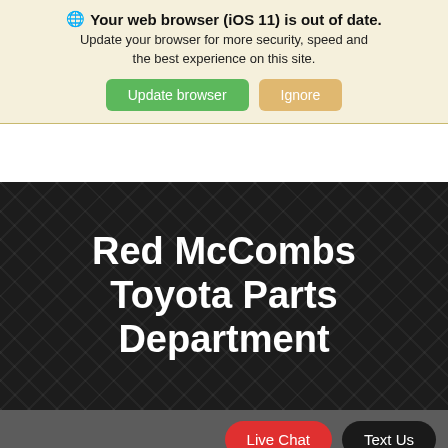🌐 Your web browser (iOS 11) is out of date. Update your browser for more security, speed and the best experience on this site.
Update browser | Ignore
Red McCombs Toyota Parts Department
Live Chat   Text Us